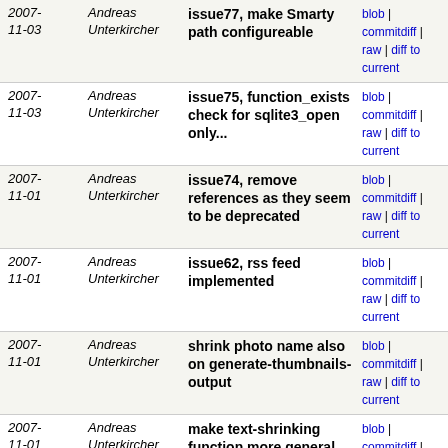| Date | Author | Message | Links |
| --- | --- | --- | --- |
| 2007-11-03 | Andreas Unterkircher | issue77, make Smarty path configureable | blob | commitdiff | raw | diff to current |
| 2007-11-03 | Andreas Unterkircher | issue75, function_exists check for sqlite3_open only... | blob | commitdiff | raw | diff to current |
| 2007-11-01 | Andreas Unterkircher | issue74, remove references as they seem to be deprecated | blob | commitdiff | raw | diff to current |
| 2007-11-01 | Andreas Unterkircher | issue62, rss feed implemented | blob | commitdiff | raw | diff to current |
| 2007-11-01 | Andreas Unterkircher | shrink photo name also on generate-thumbnails-output | blob | commitdiff | raw | diff to current |
| 2007-11-01 | Andreas Unterkircher | make text-shrinking function more general to be used... | blob | commitdiff | raw | diff to current |
| 2007-11-01 | Andreas Unterkircher | issue73, new directory structure for thumbnails | blob | commitdiff | raw | diff to current |
| 2007-07-29 | Andreas Unterkircher | issue72, fixed incorrect time displayed in time selection | blob | commitdiff | raw | diff to current |
| 2007-07-29 | Andreas Unterkircher | issue71, tell client to refresh selected-tags-list... | blob | commitdiff | raw | diff to current |
| 2007-07-29 | Andreas Unterkircher | issue60, make sure provided photo id is numeric | blob | commitdiff | raw | diff to current |